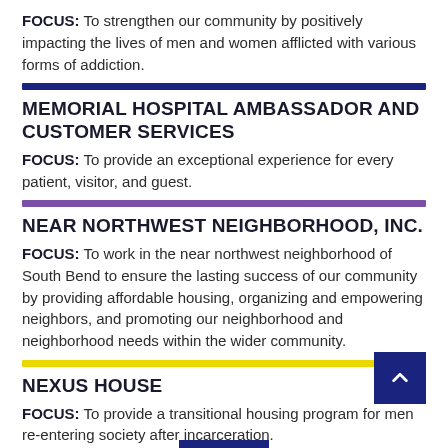FOCUS: To strengthen our community by positively impacting the lives of men and women afflicted with various forms of addiction.
MEMORIAL HOSPITAL AMBASSADOR AND CUSTOMER SERVICES
FOCUS: To provide an exceptional experience for every patient, visitor, and guest.
NEAR NORTHWEST NEIGHBORHOOD, INC.
FOCUS: To work in the near northwest neighborhood of South Bend to ensure the lasting success of our community by providing affordable housing, organizing and empowering neighbors, and promoting our neighborhood and neighborhood needs within the wider community.
NEXUS HOUSE
FOCUS: To provide a transitional housing program for men re-entering society after incarceration.